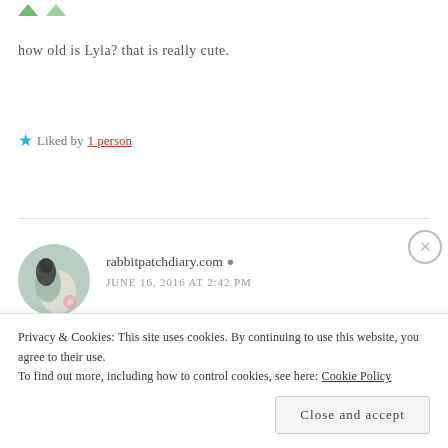how old is Lyla? that is really cute.
Liked by 1 person
rabbitpatchdiary.com
JUNE 16, 2016 AT 2:42 PM
she is one year old! and my only grand child.
Privacy & Cookies: This site uses cookies. By continuing to use this website, you agree to their use. To find out more, including how to control cookies, see here: Cookie Policy
Close and accept